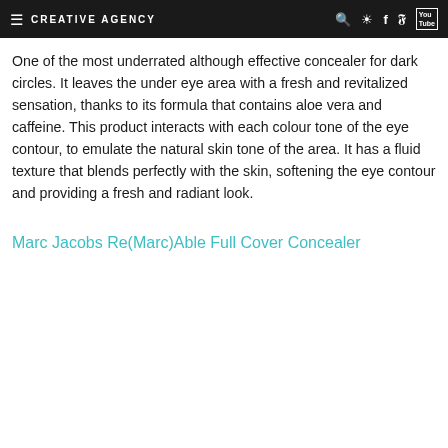CREATIVE AGENCY
One of the most underrated although effective concealer for dark circles. It leaves the under eye area with a fresh and revitalized sensation, thanks to its formula that contains aloe vera and caffeine. This product interacts with each colour tone of the eye contour, to emulate the natural skin tone of the area. It has a fluid texture that blends perfectly with the skin, softening the eye contour and providing a fresh and radiant look.
Marc Jacobs Re(Marc)Able Full Cover Concealer